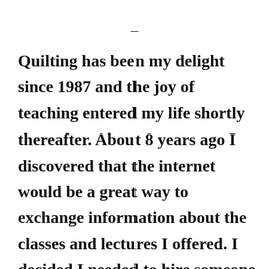—
Quilting has been my delight since 1987 and the joy of teaching entered my life shortly thereafter. About 8 years ago I discovered that the internet would be a great way to exchange information about the classes and lectures I offered. I decided I needed to hire someone to teach me how to be the keeper of my own website and, thanks to Peter Queen, www.chrisquilts.net was born. It has been a real blessing to me. Besides